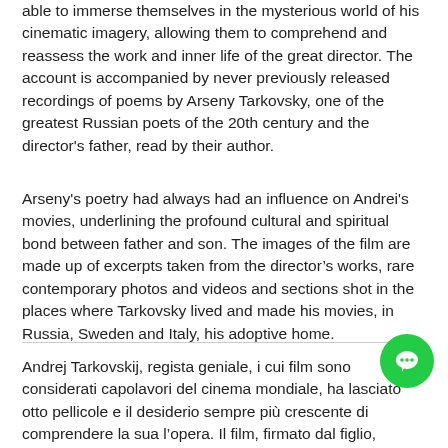able to immerse themselves in the mysterious world of his cinematic imagery, allowing them to comprehend and reassess the work and inner life of the great director. The account is accompanied by never previously released recordings of poems by Arseny Tarkovsky, one of the greatest Russian poets of the 20th century and the director's father, read by their author.
Arseny's poetry had always had an influence on Andrei's movies, underlining the profound cultural and spiritual bond between father and son. The images of the film are made up of excerpts taken from the director's works, rare contemporary photos and videos and sections shot in the places where Tarkovsky lived and made his movies, in Russia, Sweden and Italy, his adoptive home.
Andrej Tarkovskij, regista geniale, i cui film sono considerati capolavori del cinema mondiale, ha lasciato otto pellicole e il desiderio sempre più crescente di comprendere la sua l'opera. Il film, firmato dal figlio, racconta la vita e il lavoro di Tarkovskij lasciando la parola al regista stesso che condivide